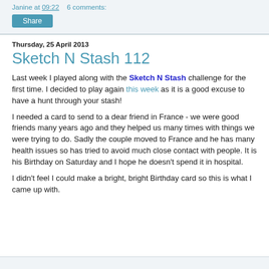Janine at 09:22    6 comments:
Share
Thursday, 25 April 2013
Sketch N Stash 112
Last week I played along with the Sketch N Stash challenge for the first time.  I decided to play again this week as it is a good excuse to have a hunt through your stash!
I needed a card to send to a dear friend in France - we were good friends many years ago and they helped us many times with things we were trying to do.  Sadly the couple moved to France and he has many health issues so has tried to avoid much close contact with people.  It is his Birthday on Saturday and I hope he doesn't spend it in hospital.
I didn't feel I could make a bright, bright Birthday card so this is what I came up with.